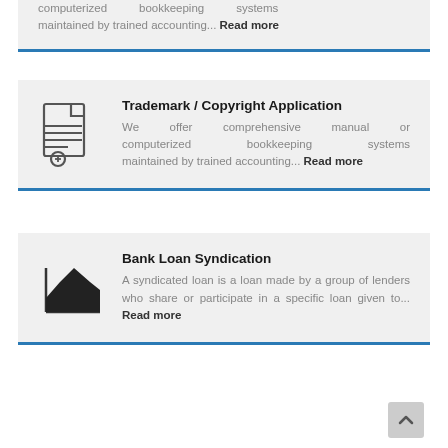computerized bookkeeping systems maintained by trained accounting... Read more
Trademark / Copyright Application
We offer comprehensive manual or computerized bookkeeping systems maintained by trained accounting... Read more
Bank Loan Syndication
A syndicated loan is a loan made by a group of lenders who share or participate in a specific loan given to... Read more